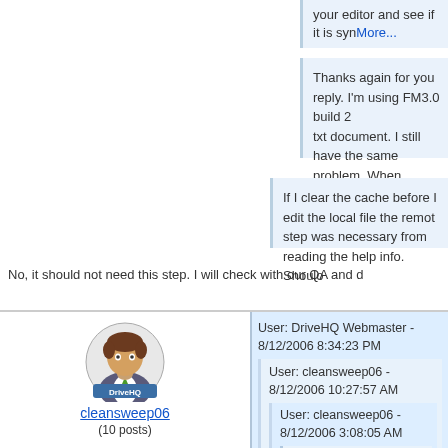your editor and see if it is synMore...
Thanks again for you reply. I'm using FM3.0 build 2 txt document. I still have the same problem. When the changeMore...
If I clear the cache before I edit the local file the remote step was necessary from reading the help info. Shouldo
No, it should not need this step. I will check with our QA and d
[Figure (illustration): Avatar icon of a person (DriveHQ mascot) with brown hair, suit and green tie, with 'DriveHQ' label]
cleansweep06
(10 posts)
User: DriveHQ Webmaster  -  8/12/2006 8:34:23 PM
User: cleansweep06  -  8/12/2006 10:27:57 AM
User: cleansweep06  -  8/12/2006 3:08:05 AM
User: DriveHQ Webmaster  -  8/11/2006 10
User: cleansweep06  -  8/10/2006 2:15: